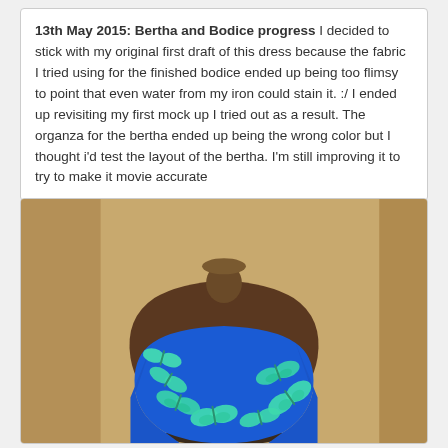13th May 2015: Bertha and Bodice progress I decided to stick with my original first draft of this dress because the fabric I tried using for the finished bodice ended up being too flimsy to point that even water from my iron could stain it. :/ I ended up revisiting my first mock up I tried out as a result. The organza for the bertha ended up being the wrong color but I thought i'd test the layout of the bertha. I'm still improving it to try to make it movie accurate
[Figure (photo): A dress form/mannequin displaying a blue strapless dress bodice decorated with teal/green butterfly embellishments arranged along the neckline. The mannequin is dark brown and sits against a warm beige/tan wall background.]